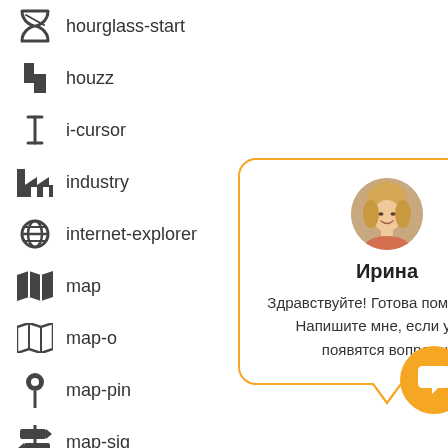hourglass-start
houzz
i-cursor
industry
internet-explorer
map
map-o
map-pin
map-signs
mouse-pointer
object-group
object-ungroup
odnoklassniki
odnoklassniki-square
opencart
[Figure (infographic): Chat popup with avatar photo of a blonde woman named Ирина, with greeting text in Russian: 'Здравствуйте! Готова помочь вам. Напишите мне, если у вас появятся вопросы.' Orange bordered rounded rectangle with speech-bubble tail pointing down. Close (×) button in top right.]
[Figure (infographic): Orange circular chat button with white speech-bubble/chat icon inside.]